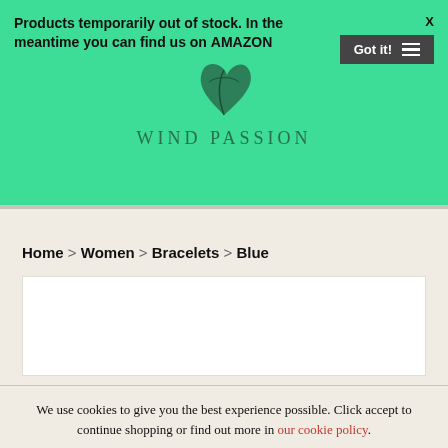Products temporarily out of stock. In the meantime you can find us on AMAZON
WIND PASSION
Home > Women > Bracelets > Blue
We use cookies to give you the best experience possible. Click accept to continue shopping or find out more in our cookie policy.
ACCEPT AND CLOSE